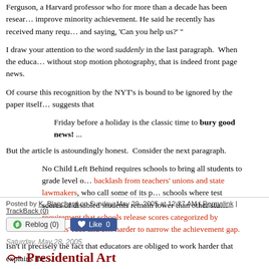Ferguson, a Harvard professor who for more than a decade has been researching ways to improve minority achievement. He said he recently has received many requests and saying, 'Can you help us?' "
I draw your attention to the word suddenly in the last paragraph. When the educators move without stop motion photography, that is indeed front page news.
Of course this recognition by the NYT's is bound to be ignored by the paper itself suggests that
Friday before a holiday is the classic time to bury good news! ...
But the article is astoundingly honest. Consider the next paragraph.
No Child Left Behind requires schools to bring all students to grade level or face backlash from teachers' unions and state lawmakers, who call some of its provisions unfair to schools where test scores of disabled students remain lower than other students, and its requirement that schools release scores categorized by students' race and ethnicity harder to narrow the achievement gap.
Isn't it precisely the fact that educators are obliged to work harder that explains the
Posted by K. Blanchard on Sunday, May 29, 2005 at 12:27 AM | Permalink | TrackBack (0)
Saturday, May 28, 2005
Presidential Art